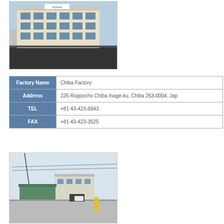[Figure (photo): Exterior photo of Toyotomi factory building, multi-story beige structure with Toyotomi sign on top, blue sky background]
| Factory Name |  |
| --- | --- |
| Factory Name | Chiba Factory |
| Address | 226 Roppocho Chiba Inage-ku, Chiba 263-0004, Japan |
| TEL | +81 43-423-6843 |
| FAX | +81 43-423-3525 |
[Figure (photo): Exterior photo of Chiba Factory grounds showing industrial buildings, power lines, and parking area]